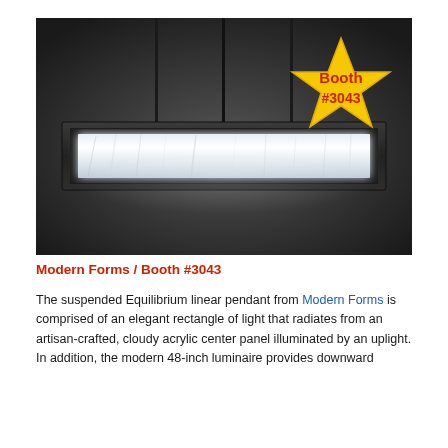[Figure (photo): Product photo of the Equilibrium linear pendant light from Modern Forms, suspended against a dark background. The fixture is a long horizontal rectangular frame in matte black holding a glowing, cloudy white acrylic center panel. Three thin rods suspend it from above. A gold star badge overlay in the upper-right corner reads 'Booth #3043' in red bold text.]
Modern Forms / Booth #3043
The suspended Equilibrium linear pendant from Modern Forms is comprised of an elegant rectangle of light that radiates from an artisan-crafted, cloudy acrylic center panel illuminated by an uplight. In addition, the modern 48-inch luminaire provides downward